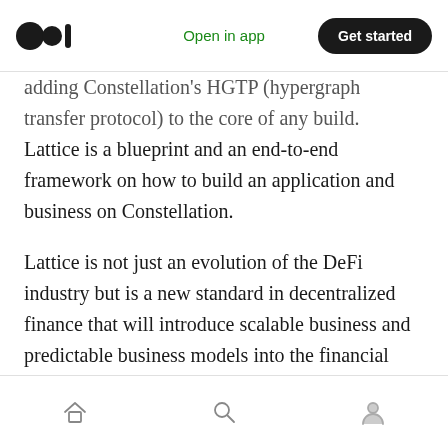Open in app | Get started
adding Constellation's HGTP (hypergraph transfer protocol) to the core of any build. Lattice is a blueprint and an end-to-end framework on how to build an application and business on Constellation.
Lattice is not just an evolution of the DeFi industry but is a new standard in decentralized finance that will introduce scalable business and predictable business models into the financial sector. The Constellation ecosystem will also serve as the default blockchain protocol that provides economic and technological scalability
Home | Search | Profile